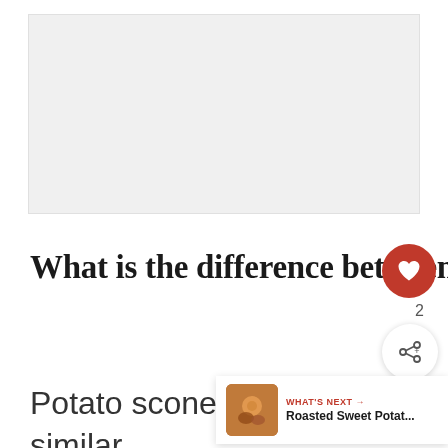[Figure (other): Gray advertisement/image placeholder box at the top of the page]
What is the difference between potato scones and potato cakes
Potato scones and potato cakes are really quite similar.